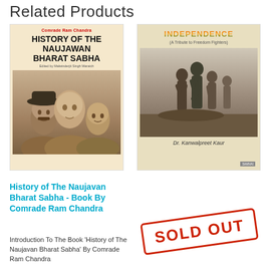Related Products
[Figure (photo): Book cover of 'History of The Naujawan Bharat Sabha' by Comrade Ram Chandra, edited by Malwinderjit Singh Waraich. Shows three historical faces in sepia tone.]
[Figure (photo): Book cover of 'Independence (A Tribute to Freedom Fighters)' by Dr. Kanwalpreet Kaur. Shows a black and white statue of freedom fighters, published by Samvai.]
History of The Naujavan Bharat Sabha - Book By Comrade Ram Chandra
Introduction To The Book 'History of The Naujavan Bharat Sabha' By Comrade Ram Chandra
[Figure (other): SOLD OUT stamp/badge in red with border, rotated slightly]